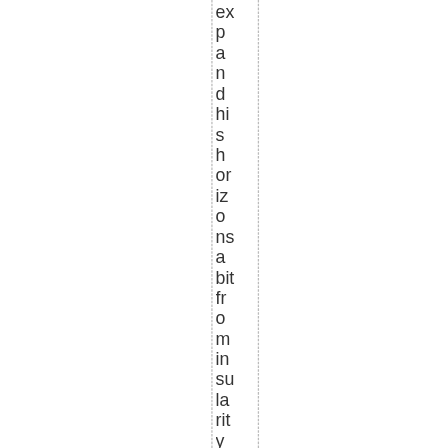expand his horizons a bit from insularity to much hneed